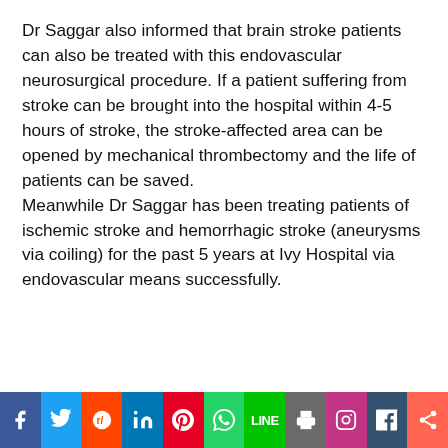Dr Saggar also informed that brain stroke patients can also be treated with this endovascular neurosurgical procedure. If a patient suffering from stroke can be brought into the hospital within 4-5 hours of stroke, the stroke-affected area can be opened by mechanical thrombectomy and the life of patients can be saved. Meanwhile Dr Saggar has been treating patients of ischemic stroke and hemorrhagic stroke (aneurysms via coiling) for the past 5 years at Ivy Hospital via endovascular means successfully.
Leave a Reply
Your email address will not be pu...
[Figure (other): Social sharing bar with icons for Facebook, Twitter, Reddit, LinkedIn, Pinterest, WhatsApp, LINE, Print, Instagram, Tumblr, and Share]